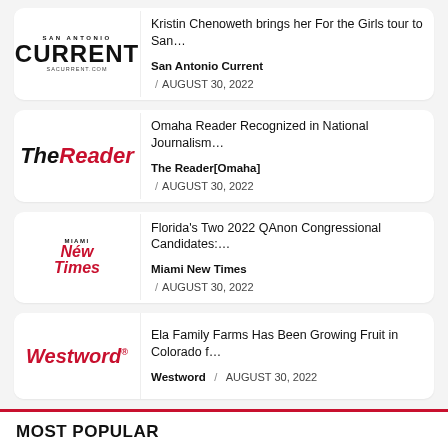Kristin Chenoweth brings her For the Girls tour to San… — San Antonio Current / AUGUST 30, 2022
Omaha Reader Recognized in National Journalism… — The Reader[Omaha] / AUGUST 30, 2022
Florida's Two 2022 QAnon Congressional Candidates:… — Miami New Times / AUGUST 30, 2022
Ela Family Farms Has Been Growing Fruit in Colorado f… — Westword / AUGUST 30, 2022
MOST POPULAR